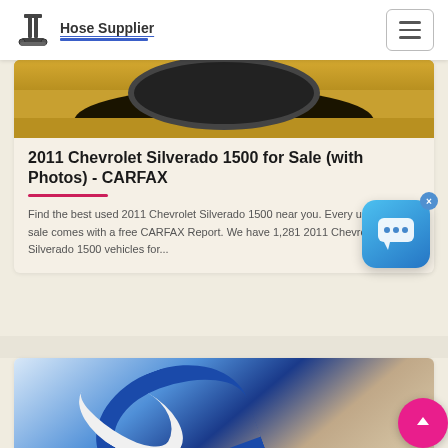Hose Supplier
[Figure (photo): Top portion of a car wheel/tire visible against yellow background]
2011 Chevrolet Silverado 1500 for Sale (with Photos) - CARFAX
Find the best used 2011 Chevrolet Silverado 1500 near you. Every used car for sale comes with a free CARFAX Report. We have 1,281 2011 Chevrolet Silverado 1500 vehicles for...
[Figure (photo): Close-up of a blue hose or industrial tubing]